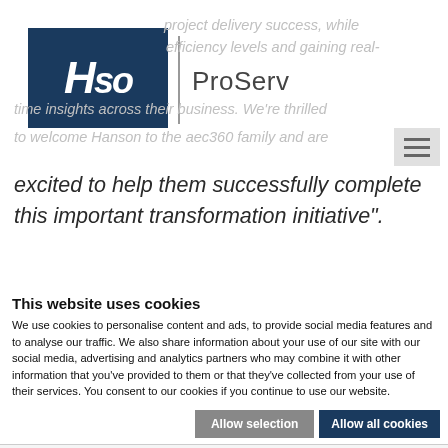[Figure (logo): HSO logo in dark blue box with white italic text, next to vertical divider and ProServ text]
project delivery success, while improving efficiency levels and gaining real-time insights across their business. We’re thrilled to welcome Hanson to the aec360 family and are excited to help them successfully complete this important transformation initiative”.
This website uses cookies
We use cookies to personalise content and ads, to provide social media features and to analyse our traffic. We also share information about your use of our site with our social media, advertising and analytics partners who may combine it with other information that you’ve provided to them or that they’ve collected from your use of their services. You consent to our cookies if you continue to use our website.
Allow selection | Allow all cookies
☑ Necessary  □ Preferences  □ Statistics  □ Marketing  Show details ∨